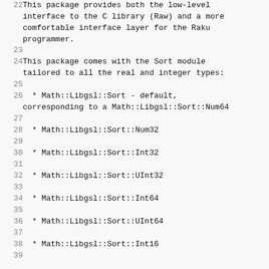22  This package provides both the low-level interface to the C library (Raw) and a more comfortable interface layer for the Raku programmer.
23
24  This package comes with the Sort module tailored to all the real and integer types:
25
26    * Math::Libgsl::Sort - default, corresponding to a Math::Libgsl::Sort::Num64
27
28    * Math::Libgsl::Sort::Num32
29
30    * Math::Libgsl::Sort::Int32
31
32    * Math::Libgsl::Sort::UInt32
33
34    * Math::Libgsl::Sort::Int64
35
36    * Math::Libgsl::Sort::UInt64
37
38    * Math::Libgsl::Sort::Int16
39